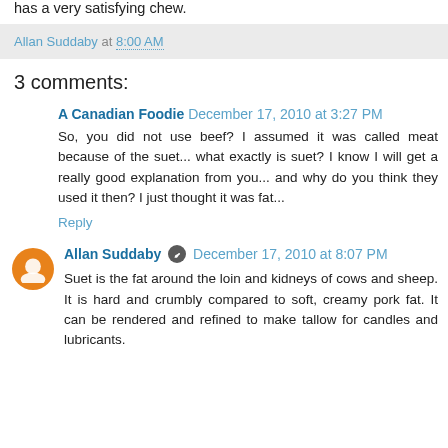has a very satisfying chew.
Allan Suddaby at 8:00 AM
3 comments:
A Canadian Foodie  December 17, 2010 at 3:27 PM
So, you did not use beef? I assumed it was called meat because of the suet... what exactly is suet? I know I will get a really good explanation from you... and why do you think they used it then? I just thought it was fat...
Reply
Allan Suddaby  December 17, 2010 at 8:07 PM
Suet is the fat around the loin and kidneys of cows and sheep. It is hard and crumbly compared to soft, creamy pork fat. It can be rendered and refined to make tallow for candles and lubricants.